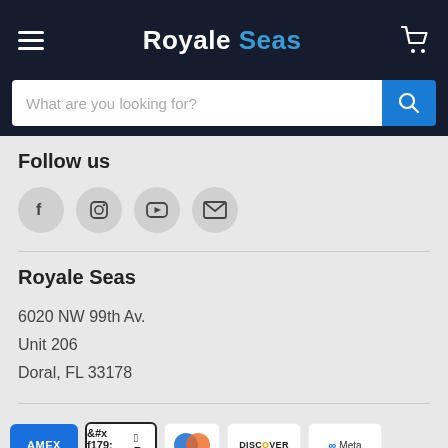Royale Seas
What are you looking for?
Follow us
[Figure (illustration): Social media icons: Facebook, Instagram, YouTube, Email]
Royale Seas
6020 NW 99th Av.
Unit 206
Doral, FL 33178
[Figure (illustration): Payment method icons: AMEX, Apple Pay, Diners Club, Discover, Meta Pay, Google Pay, Mastercard, and others]